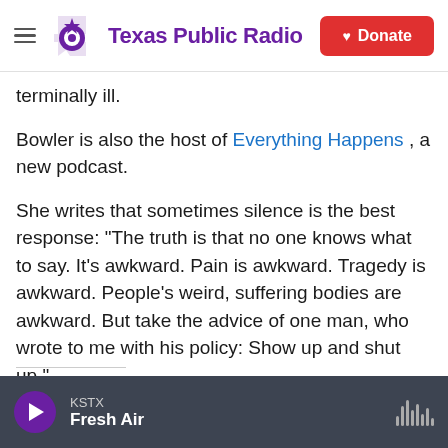Texas Public Radio | Donate
terminally ill.
Bowler is also the host of Everything Happens , a new podcast.
She writes that sometimes silence is the best response: "The truth is that no one knows what to say. It's awkward. Pain is awkward. Tragedy is awkward. People's weird, suffering bodies are awkward. But take the advice of one man, who wrote to me with his policy: Show up and shut up."
KSTX | Fresh Air